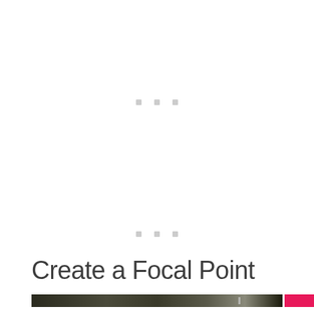[Figure (other): Three small gray square dots arranged horizontally in the upper middle area of the page]
[Figure (other): Three small gray square dots arranged horizontally in the lower middle area of the page]
Create a Focal Point
[Figure (photo): A dark horizontal image strip showing a photograph, followed by a pink/red rectangular block on the right]